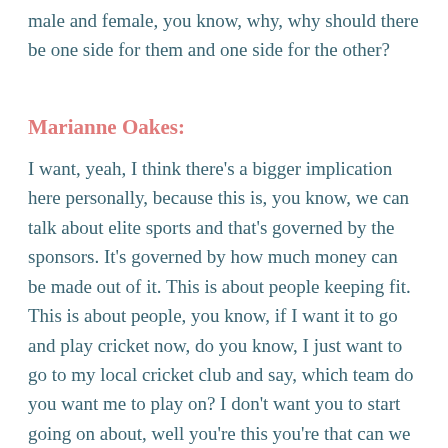male and female, you know, why, why should there be one side for them and one side for the other?
Marianne Oakes:
I want, yeah, I think there's a bigger implication here personally, because this is, you know, we can talk about elite sports and that's governed by the sponsors. It's governed by how much money can be made out of it. This is about people keeping fit. This is about people, you know, if I want it to go and play cricket now, do you know, I just want to go to my local cricket club and say, which team do you want me to play on? I don't want you to start going on about, well you're this you're that can we test your testosterone? You know, I just want somebody to give me a baton and say, go, and bat for them over there, because actually it's fun. Sport is—it should be all inclusive for all people at all levels that nobody